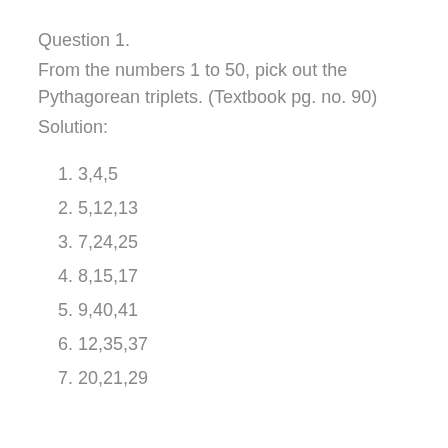Question 1.
From the numbers 1 to 50, pick out the Pythagorean triplets. (Textbook pg. no. 90)
Solution:
1. 3,4,5
2. 5,12,13
3. 7,24,25
4. 8,15,17
5. 9,40,41
6. 12,35,37
7. 20,21,29